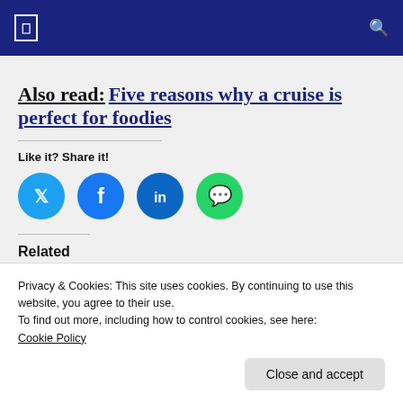Navigation bar with menu icon and search icon
Also read: Five reasons why a cruise is perfect for foodies
Like it? Share it!
[Figure (illustration): Social share buttons: Twitter (cyan), Facebook (blue), LinkedIn (dark teal), WhatsApp (green)]
Related
[Figure (photo): Two related article thumbnail images side by side: a cruise ship and a chef]
Privacy & Cookies: This site uses cookies. By continuing to use this website, you agree to their use.
To find out more, including how to control cookies, see here:
Cookie Policy